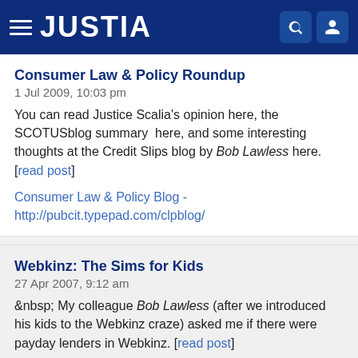JUSTIA
Consumer Law & Policy Roundup
1 Jul 2009, 10:03 pm
You can read Justice Scalia's opinion here, the SCOTUSblog summary  here, and some interesting thoughts at the Credit Slips blog by Bob Lawless here. [read post]
Consumer Law & Policy Blog - http://pubcit.typepad.com/clpblog/
Webkinz: The Sims for Kids
27 Apr 2007, 9:12 am
&nbsp; My colleague Bob Lawless (after we introduced his kids to the Webkinz craze) asked me if there were payday lenders in Webkinz. [read post]